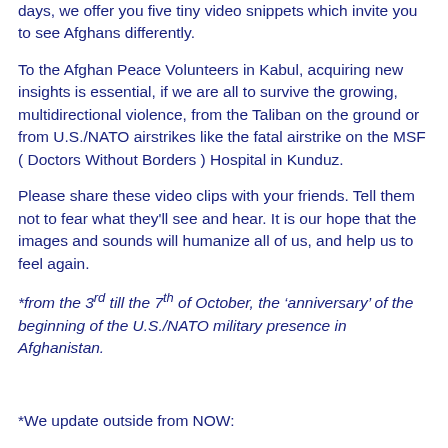days, we offer you five tiny video snippets which invite you to see Afghans differently.
To the Afghan Peace Volunteers in Kabul, acquiring new insights is essential, if we are all to survive the growing, multidirectional violence, from the Taliban on the ground or from U.S./NATO airstrikes like the fatal airstrike on the MSF ( Doctors Without Borders ) Hospital in Kunduz.
Please share these video clips with your friends. Tell them not to fear what they'll see and hear. It is our hope that the images and sounds will humanize all of us, and help us to feel again.
*from the 3rd till the 7th of October, the ‘anniversary’ of the beginning of the U.S./NATO military presence in Afghanistan.
*We update outside from NOW: [link]